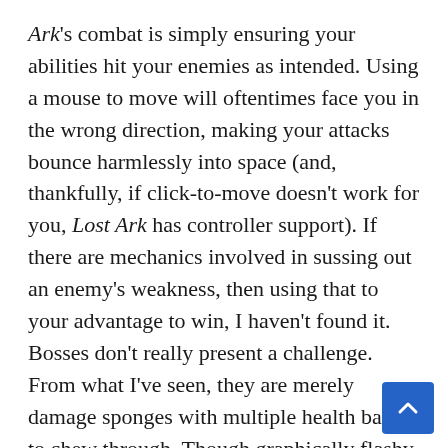Ark's combat is simply ensuring your abilities hit your enemies as intended. Using a mouse to move will oftentimes face you in the wrong direction, making your attacks bounce harmlessly into space (and, thankfully, if click-to-move doesn't work for you, Lost Ark has controller support). If there are mechanics involved in sussing out an enemy's weakness, then using that to your advantage to win, I haven't found it. Bosses don't really present a challenge. From what I've seen, they are merely damage sponges with multiple health bars to chew through. Though graphically flashy and powerful feeling, combat in Lost Ark doesn't get complicated beyond point, click, win.
The game throws an overwhelming number of systems and bars at you to keep track of, but most can be comfortably ignored. There's a standard experience bar and a roster bar that oversees all your characters on a given server granting slight health and strength bonuses whenever it levels up.